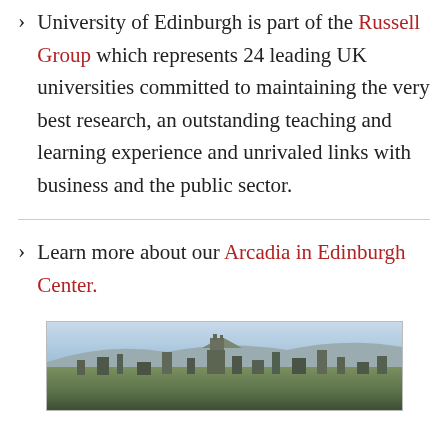University of Edinburgh is part of the Russell Group which represents 24 leading UK universities committed to maintaining the very best research, an outstanding teaching and learning experience and unrivaled links with business and the public sector.
Learn more about our Arcadia in Edinburgh Center.
[Figure (photo): Aerial/panoramic photograph of Edinburgh cityscape showing the city skyline with buildings and hills in the background]